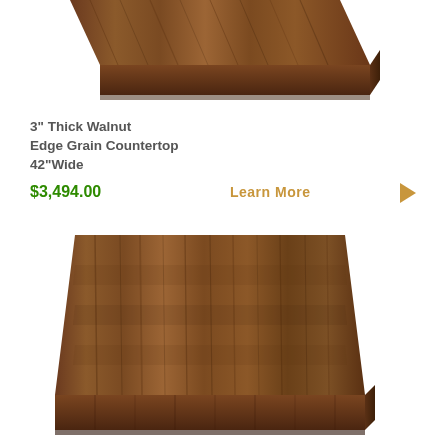[Figure (photo): 3 inch thick walnut edge grain countertop 42 inches wide, shown from an angle, top portion cropped]
3" Thick Walnut Edge Grain Countertop 42"Wide
$3,494.00
Learn More
[Figure (photo): 3 inch thick walnut edge grain countertop 42 inches wide, square view showing top surface and front edge with dark walnut wood grain]